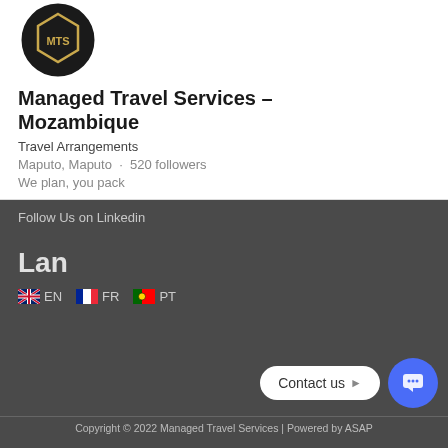[Figure (logo): Circular dark logo for Managed Travel Services on white card background]
Managed Travel Services – Mozambique
Travel Arrangements
Maputo, Maputo · 520 followers
We plan, you pack
Follow Us on Linkedin
Lan
🇬🇧 EN   🇫🇷 FR   🇵🇹 PT
Contact us
Copyright © 2022 Managed Travel Services | Powered by ASAP